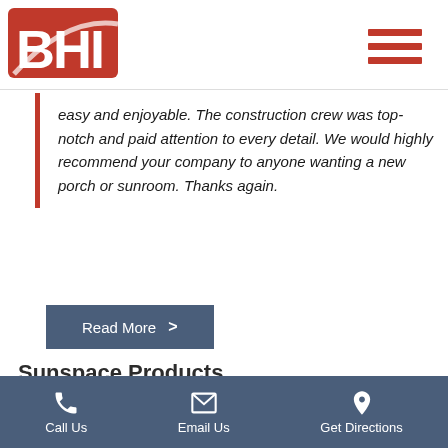[Figure (logo): BHI company logo — white letters BHI on a red background with a swoosh, inside a red and white rounded square shape]
easy and enjoyable. The construction crew was top-notch and paid attention to every detail. We would highly recommend your company to anyone wanting a new porch or sunroom. Thanks again.
Read More >
Sunspace Products
[Figure (photo): Interior view of a sunroom or sunspace with wooden beams and large glass panels showing trees outside]
Call Us  Email Us  Get Directions